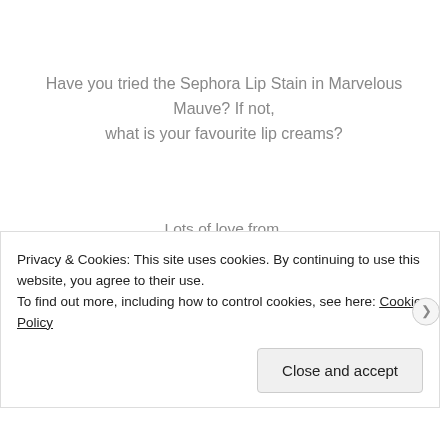Have you tried the Sephora Lip Stain in Marvelous Mauve? If not, what is your favourite lip creams?
Lots of love from,
[Figure (illustration): Handwritten signature reading 'Denisse Samantha' in large cursive script]
Privacy & Cookies: This site uses cookies. By continuing to use this website, you agree to their use.
To find out more, including how to control cookies, see here: Cookie Policy